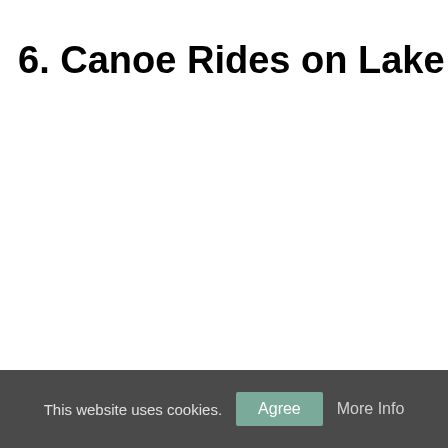6. Canoe Rides on Lake Towada
This website uses cookies.  Agree  More Info